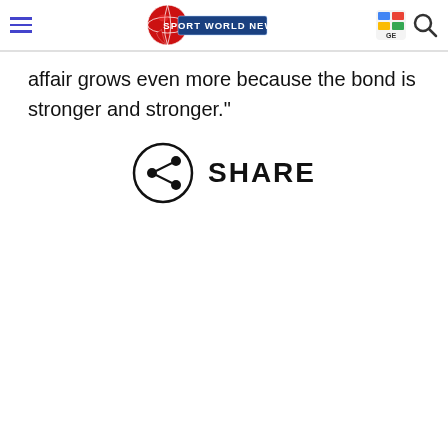Sport World News
affair grows even more because the bond is stronger and stronger."
[Figure (illustration): Share icon (circle with share symbol) followed by the word SHARE in large bold letters]